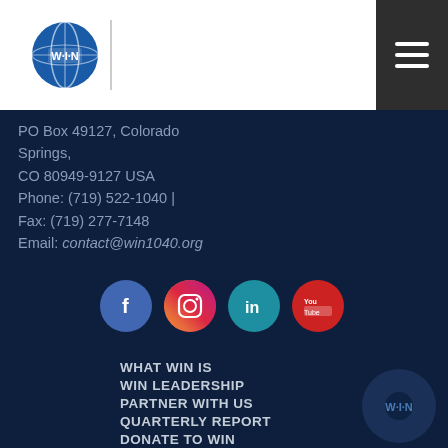WIN logo and navigation header
PO Box 49127, Colorado Springs,
CO 80949-9127 USA
Phone: (719) 522-1040 | Fax: (719) 277-7148
Email: contact@win1040.org
[Figure (illustration): Social media icons: Facebook (blue circle), Instagram (gradient circle), LinkedIn (teal circle), YouTube (red circle)]
WHAT WIN IS
WIN LEADERSHIP
PARTNER WITH US
QUARTERLY REPORT
DONATE TO WIN
PRAYER CALENDAR
PRAYER ALERTS